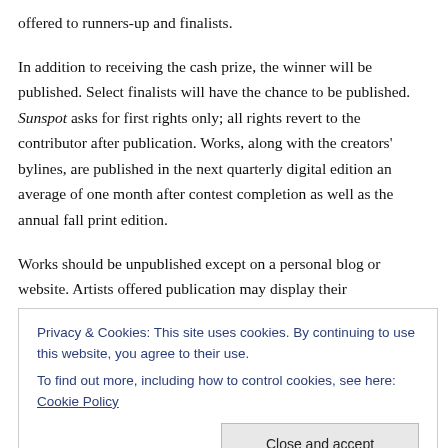offered to runners-up and finalists.
In addition to receiving the cash prize, the winner will be published. Select finalists will have the chance to be published. Sunspot asks for first rights only; all rights revert to the contributor after publication. Works, along with the creators' bylines, are published in the next quarterly digital edition an average of one month after contest completion as well as the annual fall print edition.
Works should be unpublished except on a personal blog or website. Artists offered publication may display their
Privacy & Cookies: This site uses cookies. By continuing to use this website, you agree to their use.
To find out more, including how to control cookies, see here: Cookie Policy
are accepted, but please withdraw your piece if it is